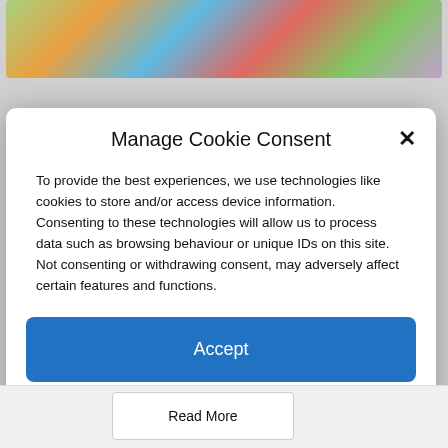[Figure (photo): Colorful background image visible at top of page, appears to show colorful objects or candies]
Manage Cookie Consent
To provide the best experiences, we use technologies like cookies to store and/or access device information. Consenting to these technologies will allow us to process data such as browsing behaviour or unique IDs on this site. Not consenting or withdrawing consent, may adversely affect certain features and functions.
Accept
Deny
View preferences
Cookie Policy   Privacy & Cookie Policy, Terms of Use
Read More